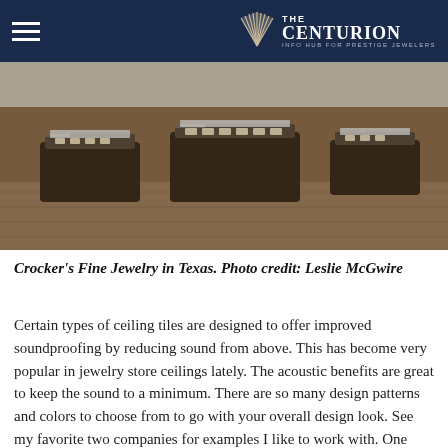THE CENTURION — INFO HUB FOR PRESTIGE JEWELERS
[Figure (photo): Interior of Crocker's Fine Jewelry store in Texas showing display cases with jewelry on a hardwood floor]
Crocker's Fine Jewelry in Texas. Photo credit: Leslie McGwire
Certain types of ceiling tiles are designed to offer improved soundproofing by reducing sound from above. This has become very popular in jewelry store ceilings lately. The acoustic benefits are great to keep the sound to a minimum. There are so many design patterns and colors to choose from to go with your overall design look. See my favorite two companies for examples I like to work with. One company is called armstrong.com and the other company is called MDCwall.com. I recommend to Google each company to see the design choices that we all can work with within your store.